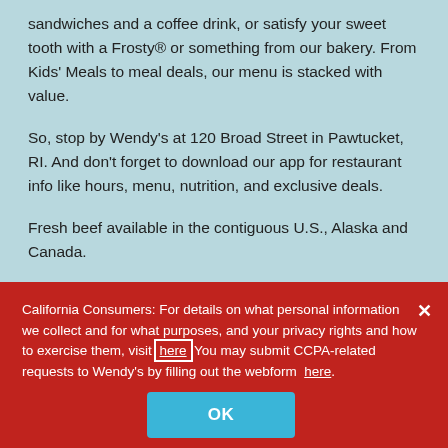sandwiches and a coffee drink, or satisfy your sweet tooth with a Frosty® or something from our bakery. From Kids' Meals to meal deals, our menu is stacked with value.
So, stop by Wendy's at 120 Broad Street in Pawtucket, RI. And don't forget to download our app for restaurant info like hours, menu, nutrition, and exclusive deals.
Fresh beef available in the contiguous U.S., Alaska and Canada.
California Consumers: For details on what personal information we collect and for what purposes, and your privacy rights and how to exercise them, visit here You may submit CCPA-related requests to Wendy's by filling out the webform here.